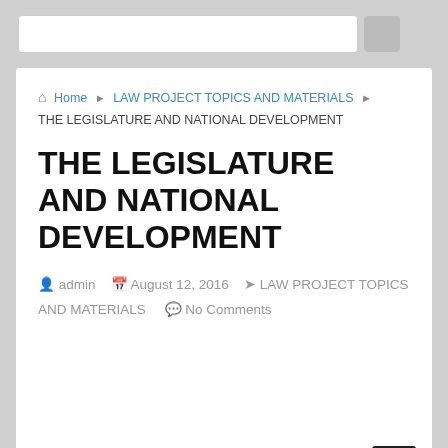Home ▸ LAW PROJECT TOPICS AND MATERIALS ▸ THE LEGISLATURE AND NATIONAL DEVELOPMENT
THE LEGISLATURE AND NATIONAL DEVELOPMENT
admin  August 12, 2016  LAW PROJECT TOPICS AND MATERIALS  No Comments